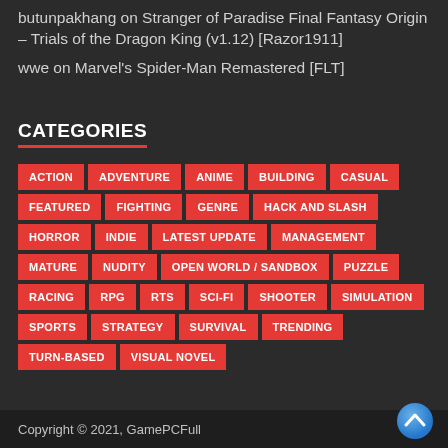butunpakhang on Stranger of Paradise Final Fantasy Origin – Trials of the Dragon King (v1.12) [Razor1911]
wwe on Marvel's Spider-Man Remastered [FLT]
CATEGORIES
ACTION ADVENTURE ANIME BUILDING CASUAL FEATURED FIGHTING GENRE HACK AND SLASH HORROR INDIE LATEST UPDATE MANAGEMENT MATURE NUDITY OPEN WORLD / SANDBOX PUZZLE RACING RPG RTS SCI-FI SHOOTER SIMULATION SPORTS STRATEGY SURVIVAL TRENDING TURN-BASED VISUAL NOVEL
Copyright © 2021, GamePCFull